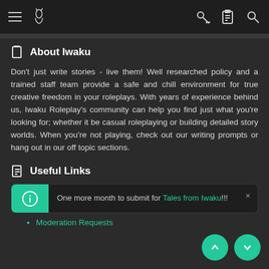Iwaku navigation bar with hamburger menu, logo, key icon, clipboard icon, search icon
About Iwaku
Don't just write stories - live them! Well researched policy and a trained staff team provide a safe and chill environment for true creative freedom in your roleplays. With years of experience behind us, Iwaku Roleplay's community can help you find just what you're looking for; whether it be casual roleplaying or building detailed story worlds. When you're not playing, check out our writing prompts or hang out in our off topic sections.
Useful Links
One more month to submit for Tales from Iwaku!!!
Moderation Requests